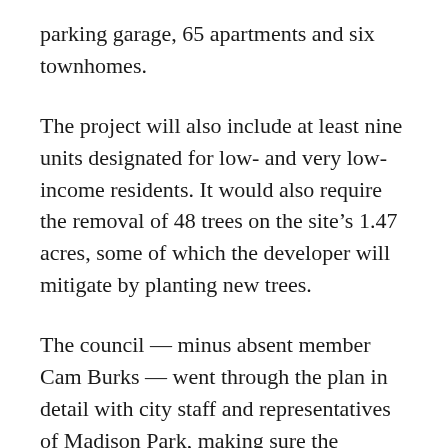parking garage, 65 apartments and six townhomes.
The project will also include at least nine units designated for low- and very low-income residents. It would also require the removal of 48 trees on the site’s 1.47 acres, some of which the developer will mitigate by planting new trees.
The council — minus absent member Cam Burks — went through the plan in detail with city staff and representatives of Madison Park, making sure the objections of residents to the south were mitigated.
After getting a few last-minute concessions, the council voted 4-0 to approve the project, which was in its fifth